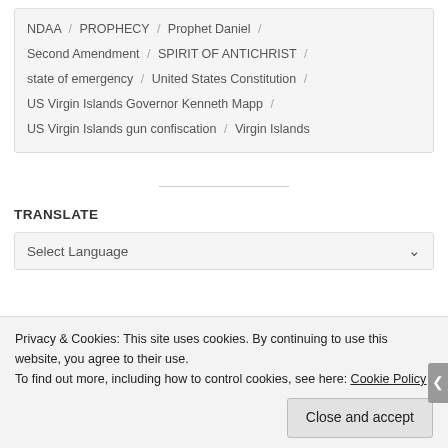NDAA / PROPHECY / Prophet Daniel / Second Amendment / SPIRIT OF ANTICHRIST / state of emergency / United States Constitution / US Virgin Islands Governor Kenneth Mapp / US Virgin Islands gun confiscation / Virgin Islands
TRANSLATE
Select Language
Privacy & Cookies: This site uses cookies. By continuing to use this website, you agree to their use. To find out more, including how to control cookies, see here: Cookie Policy
Close and accept